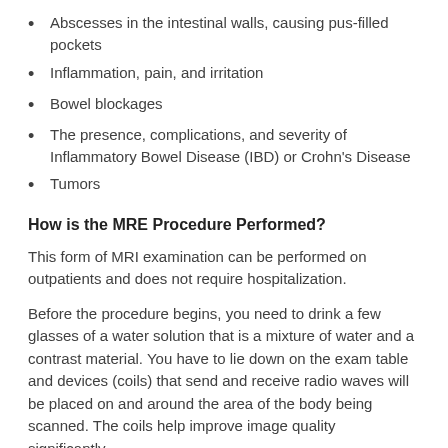Abscesses in the intestinal walls, causing pus-filled pockets
Inflammation, pain, and irritation
Bowel blockages
The presence, complications, and severity of Inflammatory Bowel Disease (IBD) or Crohn's Disease
Tumors
How is the MRE Procedure Performed?
This form of MRI examination can be performed on outpatients and does not require hospitalization.
Before the procedure begins, you need to drink a few glasses of a water solution that is a mixture of water and a contrast material. You have to lie down on the exam table and devices (coils) that send and receive radio waves will be placed on and around the area of the body being scanned. The coils help improve image quality significantly.